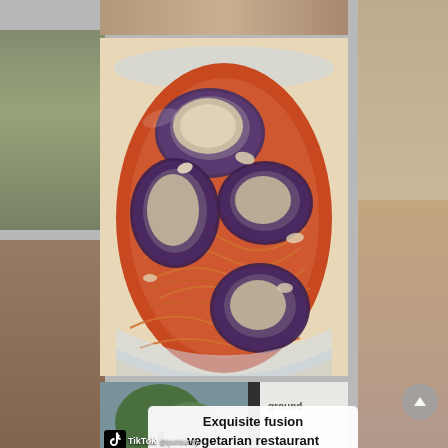[Figure (photo): Top partial image strip showing blurred food/dish content at the top of the page, cropped.]
[Figure (photo): Main food photo: a bowl with spaghetti in tomato sauce topped with large roasted/grilled eggplant (aubergine) slices with cheese, served in a blue and white patterned bowl.]
[Figure (photo): TikTok screenshot showing exterior of a restaurant building with trees in foreground. A white text overlay reads 'Exquisite fusion vegetarian restaurant @Jln Chow Thye,'. TikTok logo and @ipohbunny username visible in bottom left.]
Exquisite fusion vegetarian restaurant @Jln Chow Thye,